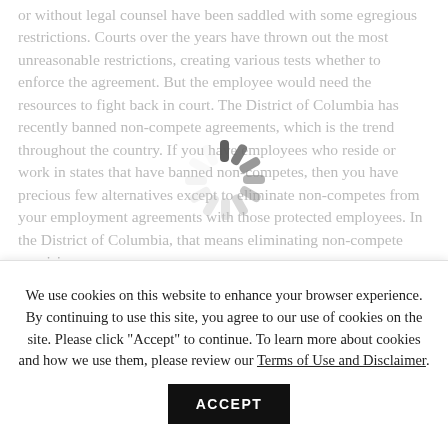or without legal counsel have been saddled with some egregious restrictions. Courts over the years have thrown out the most unreasonable restrictions, creating various tests whether to enforce the agreement. But the employee would need the resources to fight back in court. The District of Columbia has recently banned non-compete agreements, which is the trend throughout the country. If you have employees who reside or work in states that have banned non-competes, then you have precious few alternatives except to eliminate non-competes from your employment agreements with those protected employees. In the District of Columbia, that means eliminating non-compete provisions
[Figure (other): Loading spinner / activity indicator overlaid on the text content]
We use cookies on this website to enhance your browser experience. By continuing to use this site, you agree to our use of cookies on the site. Please click "Accept" to continue. To learn more about cookies and how we use them, please review our Terms of Use and Disclaimer.